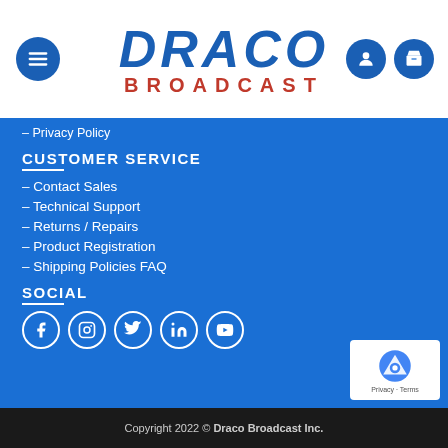[Figure (logo): Draco Broadcast logo with hamburger menu button and header icons]
– Privacy Policy
CUSTOMER SERVICE
– Contact Sales
– Technical Support
– Returns / Repairs
– Product Registration
– Shipping Policies FAQ
SOCIAL
[Figure (infographic): Social media icons: Facebook, Instagram, Twitter, LinkedIn, YouTube]
Copyright 2022 © Draco Broadcast Inc.